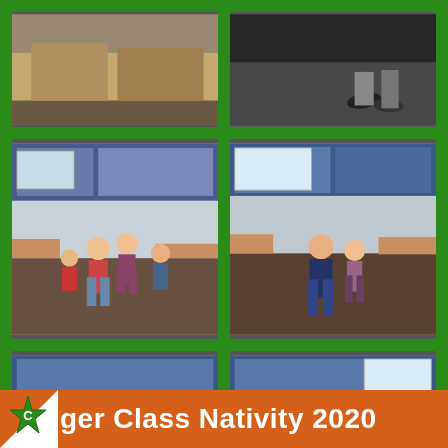[Figure (photo): Top-left partial photo showing classroom floor/desks from above]
[Figure (photo): Top-right partial photo showing feet/shoes on dark floor]
[Figure (photo): Middle-left photo: children dancing/playing in a decorated classroom, colourful display boards visible]
[Figure (photo): Middle-right photo: two children dancing in a classroom with blue display boards and window]
[Figure (photo): Bottom-left photo: boy in red Christmas jumper and girl in pink dress dancing in classroom]
[Figure (photo): Bottom-right photo: children dancing in classroom, one wearing a red Santa hat]
ger Class Nativity 2020